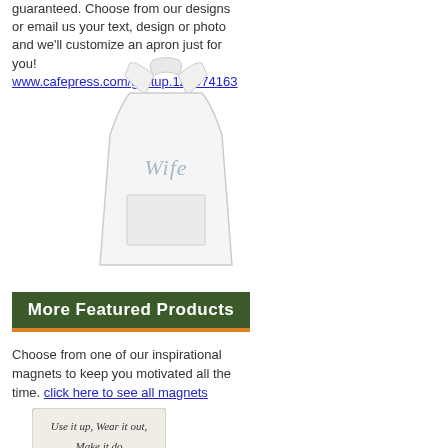guaranteed. Choose from our designs or email us your text, design or photo and we'll customize an apron just for you!
www.cafepress.com/givitup.122974163
[Figure (photo): White apron with 'Wife' text printed on it in italic light blue letters]
[Figure (other): Dark green banner button reading 'More Featured Products' with orange bottom border]
Choose from one of our inspirational magnets to keep you motivated all the time. click here to see all magnets
[Figure (photo): Magnet with text 'Use it up, Wear it out, Make it do or Do without!' in italic script on light background]